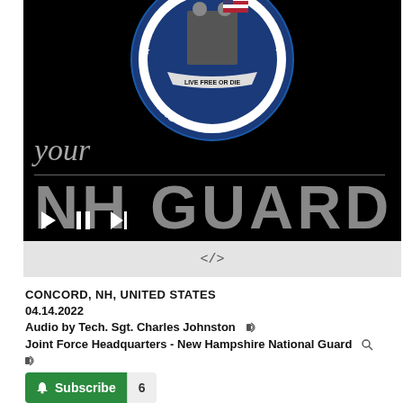[Figure (screenshot): NH Guard podcast/media player with black background showing New Hampshire National Guard badge with 'LIVE FREE OR DIE' text and 'NATIONAL GUARD' text around the seal, with cursive 'your' text, 'NH GUARD' in large gray letters, and playback controls (play, pause, skip buttons). Below the player is an embed code bar showing </>]
CONCORD, NH, UNITED STATES
04.14.2022
Audio by Tech. Sgt. Charles Johnston
Joint Force Headquarters - New Hampshire National Guard
Subscribe 6